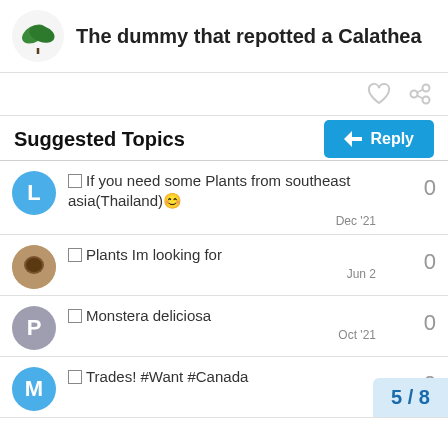The dummy that repotted a Calathea
Suggested Topics
If you need some Plants from southeast asia(Thailand) 😊 — 0 — Dec '21
Plants Im looking for — 0 — Jun 2
Monstera deliciosa — 0 — Oct '21
Trades! #Want #Canada — 0
5 / 8